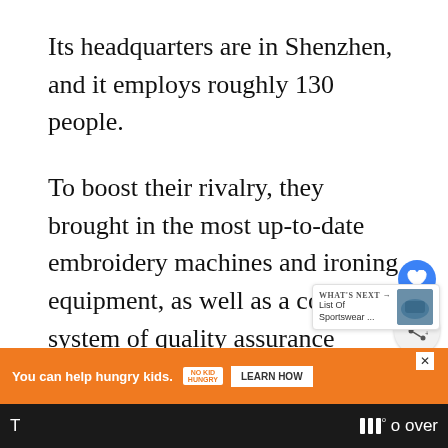Its headquarters are in Shenzhen, and it employs roughly 130 people.
To boost their rivalry, they brought in the most up-to-date embroidery machines and ironing equipment, as well as a complete system of quality assurance methods. In addition, quality control is in place on all production lines. Their production line has a capacity of 2,700,000 units per year.
[Figure (screenshot): UI overlay with heart/like button (blue circle) and share button, plus a 'What's Next' widget showing a sportswear thumbnail]
[Figure (screenshot): Orange advertisement bar: 'You can help hungry kids.' with No Kid Hungry logo and LEARN HOW button]
T
o over